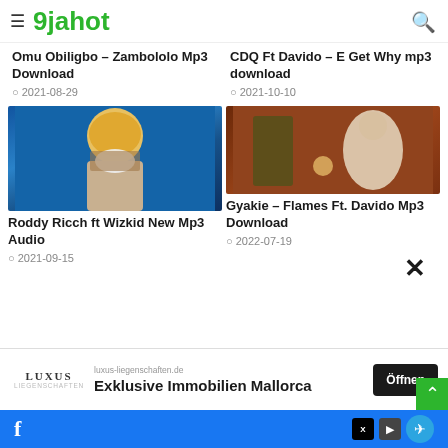9jahot
Omu Obiligbo – Zambololo Mp3 Download
2021-08-29
CDQ Ft Davido – E Get Why mp3 download
2021-10-10
[Figure (photo): Artist wearing colorful hat and mask against blue background]
Roddy Ricch ft Wizkid New Mp3 Audio
2021-09-15
[Figure (photo): Person standing outdoors at night with warm orange lighting]
Gyakie – Flames Ft. Davido Mp3 Download
2022-07-19
luxus-liegenschaften.de Exklusive Immobilien Mallorca Öffnen